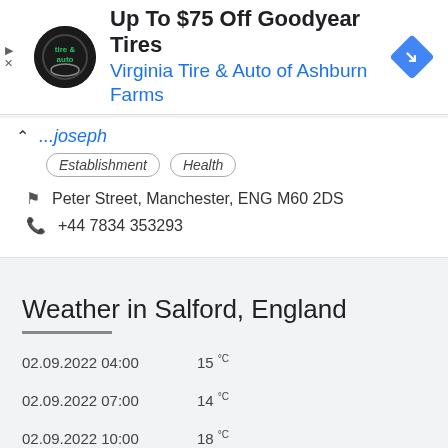[Figure (screenshot): Advertisement banner for Virginia Tire & Auto of Ashburn Farms with logo and navigation icon]
Up To $75 Off Goodyear Tires
Virginia Tire & Auto of Ashburn Farms
...Joseph
Establishment
Health
Peter Street, Manchester, ENG M60 2DS
+44 7834 353293
Weather in Salford, England
| Date/Time | Temperature |
| --- | --- |
| 02.09.2022 04:00 | 15 °C |
| 02.09.2022 07:00 | 14 °C |
| 02.09.2022 10:00 | 18 °C |
| 02.09.2022 13:00 | 18 °C |
| 02.09.2022 16:00 | 22 °C |